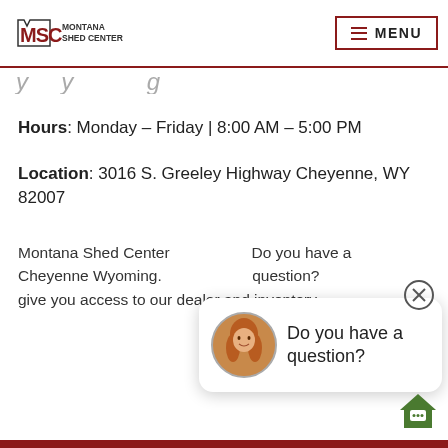MSC Montana Shed Center | MENU
Hours: Monday – Friday | 8:00 AM – 5:00 PM
Location: 3016 S. Greeley Highway Cheyenne, WY 82007
Montana Shed Center Cheyenne Wyoming. give you access to our dealer and inventory.
[Figure (screenshot): Chat popup with woman avatar photo and text 'Do you have a question?']